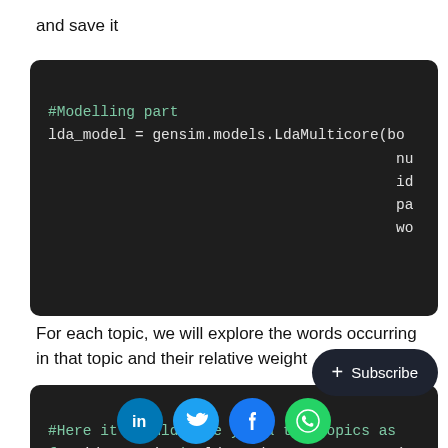and save it
[Figure (screenshot): Code block showing Python LDA model code: #Modelling part, lda_model = gensim.models.LdaMulticore(bow... num... id... pa... wo...]
For each topic, we will explore the words occurring in that topic and their relative weight
[Figure (screenshot): Code block showing: #Here it should give you a top topics as for idx, topic in lda_mode ... ( print("Topic: {} \nWor... (]
[Figure (other): Subscribe button overlay and social media icons (LinkedIn, Twitter, Facebook, WhatsApp)]